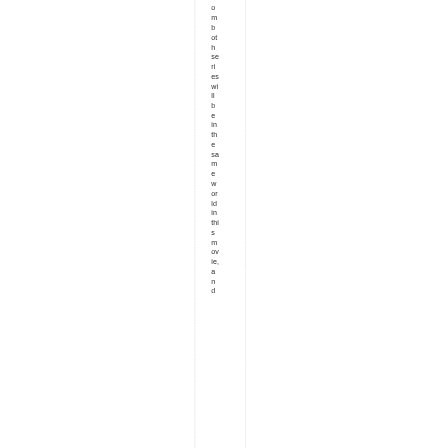o m b ot h se ri es wi ll b e in th e sa m e w or ld in thi s m ov ie, a n d